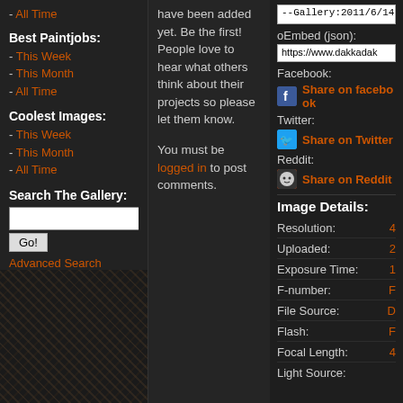- All Time
Best Paintjobs:
- This Week
- This Month
- All Time
Coolest Images:
- This Week
- This Month
- All Time
Search The Gallery:
Go!
Advanced Search
have been added yet. Be the first! People love to hear what others think about their projects so please let them know.
You must be logged in to post comments.
--Gallery:2011/6/14/23:
oEmbed (json):
https://www.dakkadak
Facebook:
Share on facebook
Twitter:
Share on Twitter
Reddit:
Share on Reddit
Image Details:
Resolution:
Uploaded:
Exposure Time:
F-number:
File Source:
Flash:
Focal Length:
Light Source: